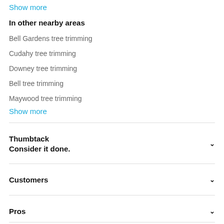Show more
In other nearby areas
Bell Gardens tree trimming
Cudahy tree trimming
Downey tree trimming
Bell tree trimming
Maywood tree trimming
Show more
Thumbtack
Consider it done.
Customers
Pros